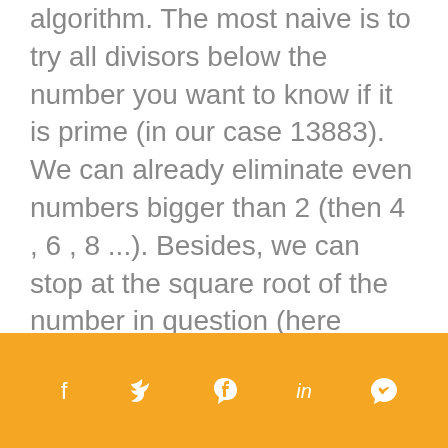algorithm. The most naive is to try all divisors below the number you want to know if it is prime (in our case 13883). We can already eliminate even numbers bigger than 2 (then 4 , 6 , 8 ...). Besides, we can stop at the square root of the number in question (here 117.826 ). Historically, the Eratosthenes screen (which dates back to Antiquity) uses this technique relatively effectively.

More modern techniques include the Atkin screen, probabilistic
Social share icons: f, twitter, pinterest, in, whatsapp